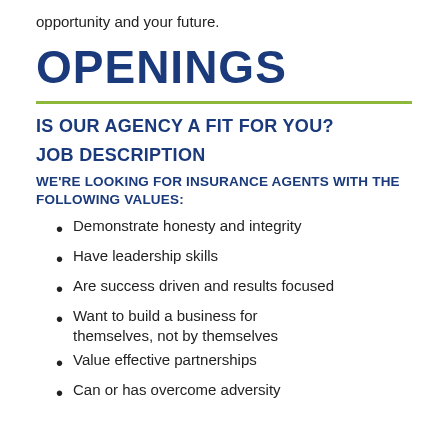opportunity and your future.
OPENINGS
IS OUR AGENCY A FIT FOR YOU?
JOB DESCRIPTION
WE'RE LOOKING FOR INSURANCE AGENTS WITH THE FOLLOWING VALUES:
Demonstrate honesty and integrity
Have leadership skills
Are success driven and results focused
Want to build a business for themselves, not by themselves
Value effective partnerships
Can or has overcome adversity